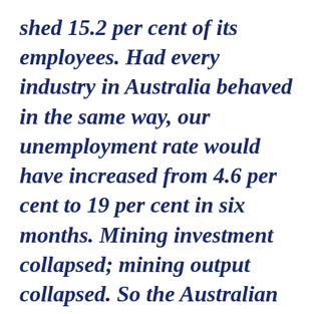shed 15.2 per cent of its employees. Had every industry in Australia behaved in the same way, our unemployment rate would have increased from 4.6 per cent to 19 per cent in six months. Mining investment collapsed; mining output collapsed. So the Australian mining industry had quite a